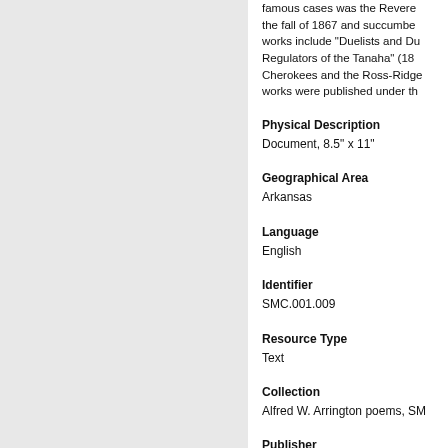famous cases was the Revere... the fall of 1867 and succumbe... works include "Duelists and Du... Regulators of the Tanaha" (18... Cherokees and the Ross-Ridge... works were published under th...
Physical Description
Document, 8.5" x 11"
Geographical Area
Arkansas
Language
English
Identifier
SMC.001.009
Resource Type
Text
Collection
Alfred W. Arrington poems, SM...
Publisher